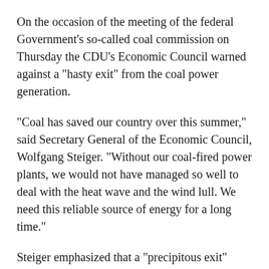On the occasion of the meeting of the federal Government's so-called coal commission on Thursday the CDU's Economic Council warned against a "hasty exit" from the coal power generation.
"Coal has saved our country over this summer," said Secretary General of the Economic Council, Wolfgang Steiger. "Without our coal-fired power plants, we would not have managed so well to deal with the heat wave and the wind lull. We need this reliable source of energy for a long time."
Steiger emphasized that a "precipitous exit" from coal-fired power generation by national unilateralism would further increase electricity prices and endanger the security of supply for industry.
International competitiveness would be jeopardized without saving carbon dioxide in the European Union.